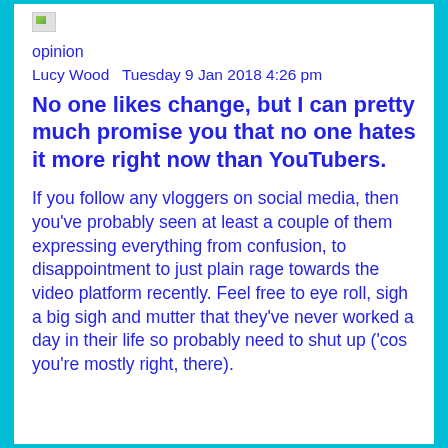[Figure (other): Broken/placeholder image icon in top-left area]
opinion
Lucy Wood  Tuesday 9 Jan 2018 4:26 pm
No one likes change, but I can pretty much promise you that no one hates it more right now than YouTubers.
If you follow any vloggers on social media, then you've probably seen at least a couple of them expressing everything from confusion, to disappointment to just plain rage towards the video platform recently. Feel free to eye roll, sigh a big sigh and mutter that they've never worked a day in their life so probably need to shut up ('cos you're mostly right, there).